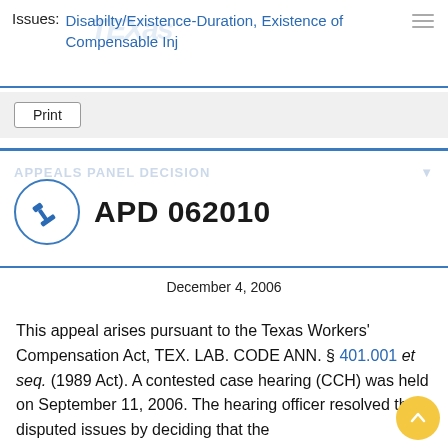Issues: Disabilty/Existence-Duration, Existence of Compensable Inj
Print
APD 062010
December 4, 2006
This appeal arises pursuant to the Texas Workers' Compensation Act, TEX. LAB. CODE ANN. § 401.001 et seq. (1989 Act). A contested case hearing (CCH) was held on September 11, 2006. The hearing officer resolved the disputed issues by deciding that the